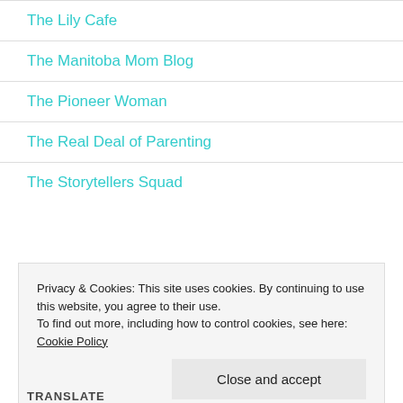The Lily Cafe
The Manitoba Mom Blog
The Pioneer Woman
The Real Deal of Parenting
The Storytellers Squad
Privacy & Cookies: This site uses cookies. By continuing to use this website, you agree to their use.
To find out more, including how to control cookies, see here: Cookie Policy
Close and accept
TRANSLATE